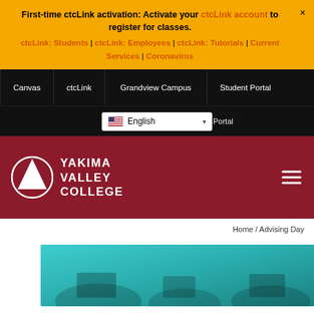First-time ctcLink activation: Activate your ctcLink account to register for classes. ctcLink: Students | ctcLink: Employees | ctcLink: Tutorials | Current Services | Coronavirus
Canvas | ctcLink | Grandview Campus | Student Portal | Staff/Faculty Portal
[Figure (screenshot): Language selector dropdown showing English with US flag]
[Figure (logo): Yakima Valley College logo - white on dark red background with hamburger menu]
Home / Advising Day
[Figure (photo): Hero image with teal/cyan color overlay showing people at a table working]